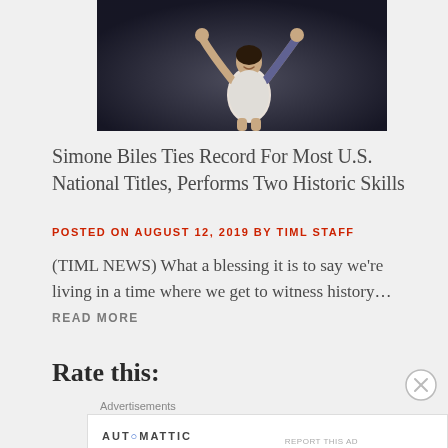[Figure (photo): Simone Biles flexing arms above her head in gymnastics leotard against dark background]
Simone Biles Ties Record For Most U.S. National Titles, Performs Two Historic Skills
POSTED ON AUGUST 12, 2019 BY TIML STAFF
(TIML NEWS) What a blessing it is to say we're living in a time where we get to witness history… READ MORE
Rate this:
Advertisements
AUTOMATTIC — Build a better web and a better world.